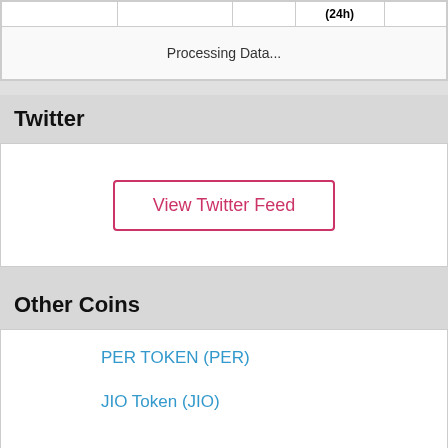|  |  |  | (24h) |  |
| --- | --- | --- | --- | --- |
|  |  |  | Processing Data... |  |
Twitter
[Figure (other): White box with a 'View Twitter Feed' button styled with a pink/red border and text]
Other Coins
PER TOKEN (PER)
JIO Token (JIO)